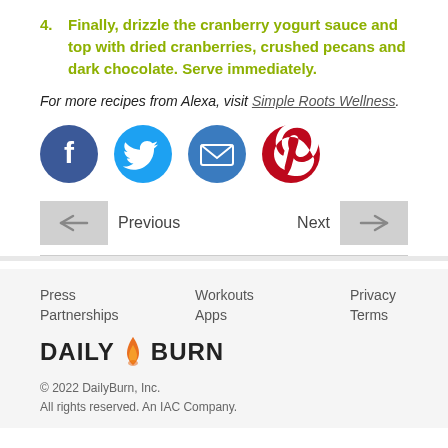4. Finally, drizzle the cranberry yogurt sauce and top with dried cranberries, crushed pecans and dark chocolate. Serve immediately.
For more recipes from Alexa, visit Simple Roots Wellness.
[Figure (other): Social media share buttons: Facebook, Twitter, Email, Pinterest]
Previous   Next
Press  Workouts  Privacy
Partnerships  Apps  Terms
DAILY BURN
© 2022 DailyBurn, Inc.
All rights reserved. An IAC Company.